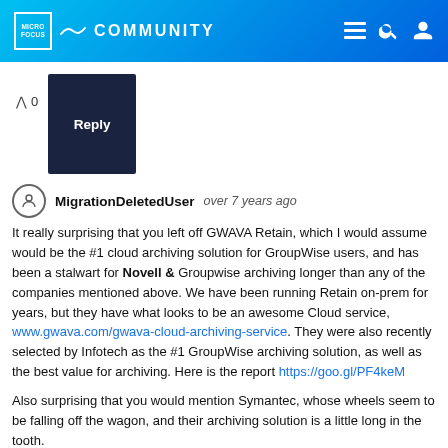Micro Focus Community
^ 0  Reply
MigrationDeletedUser  over 7 years ago

It really surprising that you left off GWAVA Retain, which I would assume would be the #1 cloud archiving solution for GroupWise users, and has been a stalwart for Novell & Groupwise archiving longer than any of the companies mentioned above. We have been running Retain on-prem for years, but they have what looks to be an awesome Cloud service, www.gwava.com/gwava-cloud-archiving-service. They were also recently selected by Infotech as the #1 GroupWise archiving solution, as well as the best value for archiving. Here is the report https://goo.gl/PF4keM

Also surprising that you would mention Symantec, whose wheels seem to be falling off the wagon, and their archiving solution is a little long in the tooth.